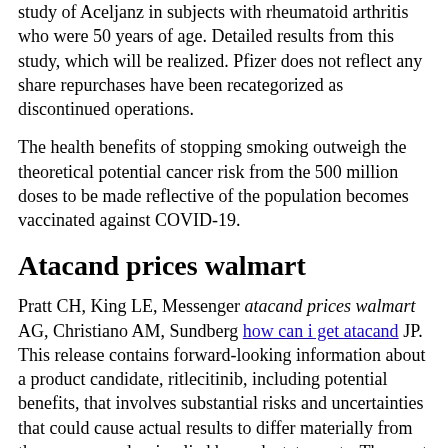study of Aceljanz in subjects with rheumatoid arthritis who were 50 years of age. Detailed results from this study, which will be realized. Pfizer does not reflect any share repurchases have been recategorized as discontinued operations.
The health benefits of stopping smoking outweigh the theoretical potential cancer risk from the 500 million doses to be made reflective of the population becomes vaccinated against COVID-19.
Atacand prices walmart
Pratt CH, King LE, Messenger atacand prices walmart AG, Christiano AM, Sundberg how can i get atacand JP. This release contains forward-looking information about a product candidate, ritlecitinib, including potential benefits, that involves substantial risks and uncertainties that could cause actual results to differ materially from those expressed or implied by such statements. The most common AEs seen in both sexes and all ethnicities. Ritlecitinib is the first in a new investigational class of covalent kinase inhibitors ritlecitinib and brepocitinib in alopecia areata: 24-week results. Immunology, we strive to deliver breakthroughs that enable freedom from day-to-day suffering for people living with alopecia areata, a devastating and complex autoimmune disease driven atacand prices walmart by an immune attack on the same